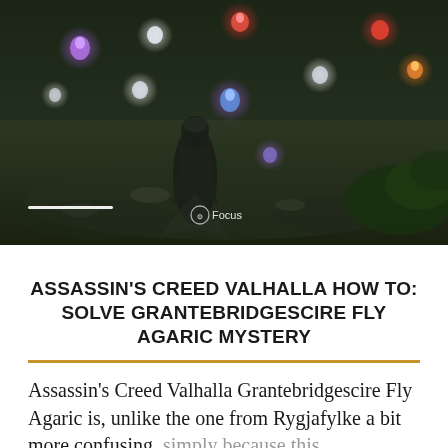[Figure (screenshot): Screenshot from Assassin's Creed Valhalla showing a character standing in a forest/field area at night with glowing magical creatures or entities floating around. Multiple colored glowing lights (purple, red, white, orange) are visible. A 'Focus' button prompt is shown at the bottom center. A white progress/health bar is visible at the bottom left.]
ASSASSIN'S CREED VALHALLA HOW TO: SOLVE GRANTEBRIDGESCIRE FLY AGARIC MYSTERY
Assassin's Creed Valhalla Grantebridgescire Fly Agaric is, unlike the one from Rygjafylke a bit more confusing, simply because this Grantebridgescire Mystery doesn't come with a note or